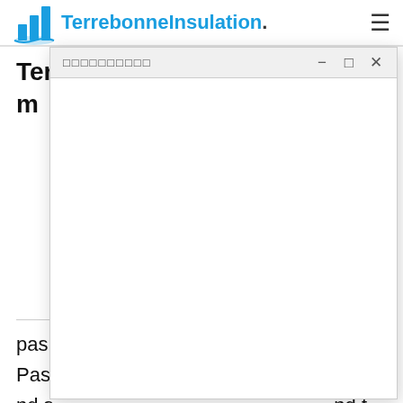TerrebonneInsulation.
[Figure (screenshot): A modal/dialog window overlay with a title bar showing garbled/box characters as the title, and minimize, maximize, close window controls. The modal body is empty white space.]
To… il m… al
pas… Pas… ts a nd s… nd t ouri… (no n-w… omp etent departments of railways, communications, civil aviation and tourism shall earnestly perform their